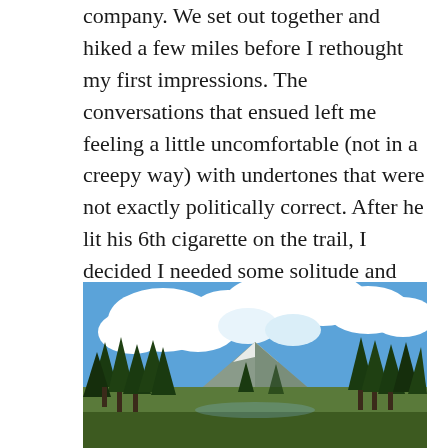company. We set out together and hiked a few miles before I rethought my first impressions. The conversations that ensued left me feeling a little uncomfortable (not in a creepy way) with undertones that were not exactly politically correct. After he lit his 6th cigarette on the trail, I decided I needed some solitude and told him I was going to pick up the pace in an effort to ensure a camp spot at Reese Lake and I bolted, unsure but hopeful this would be my last encounter with him.
[Figure (photo): A landscape photo showing a snow-capped mountain peak in the center background, surrounded by green conifer trees in the foreground, under a bright blue sky with large white clouds.]